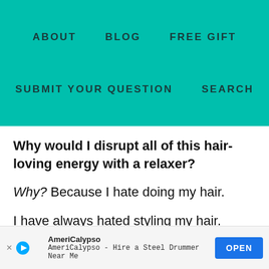ABOUT   BLOG   FREE GIFT   SUBMIT YOUR QUESTION   SEARCH
Why would I disrupt all of this hair-loving energy with a relaxer?
Why? Because I hate doing my hair.
I have always hated styling my hair. When I had a relaxer, my hair was easily used...